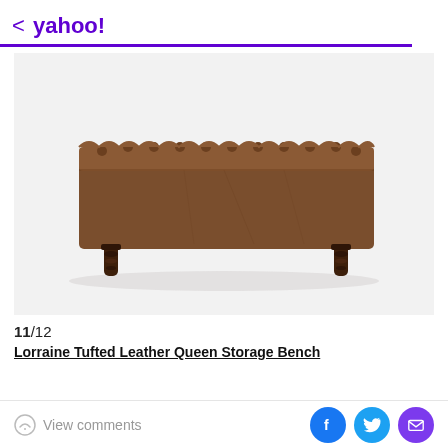< yahoo!
[Figure (photo): A brown leather tufted queen storage bench with dark turned wooden legs, shown from the side against a light gray/white background.]
11/12
Lorraine Tufted Leather Queen Storage Bench
View comments